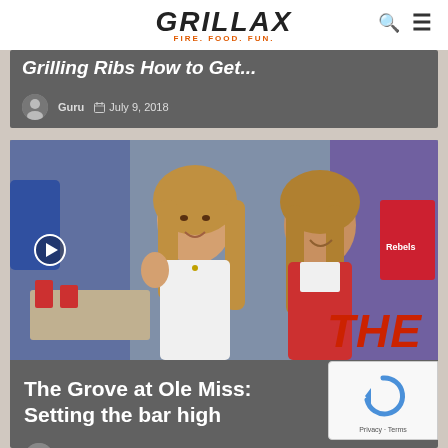GRILLAX FIRE. FOOD. FUN.
Grilling Ribs How to Get...
Guru  July 9, 2018
[Figure (photo): Two smiling women at an Ole Miss tailgate party, one waving, with red and blue decorations. Text overlay reads THE.]
The Grove at Ole Miss: Setting the bar high
Guru  November 16, 2017